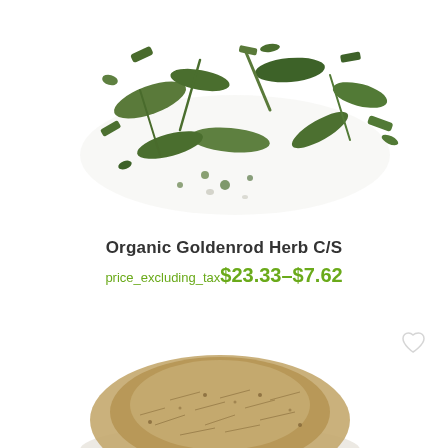[Figure (photo): Pile of dried green organic goldenrod herb cut and sifted, scattered on white background, top view]
Organic Goldenrod Herb C/S
price_excluding_tax$23.33–$7.62
[Figure (photo): Pile of dried brown herb (seeds or fine cut herb), heaped on white background, top view, partially visible]